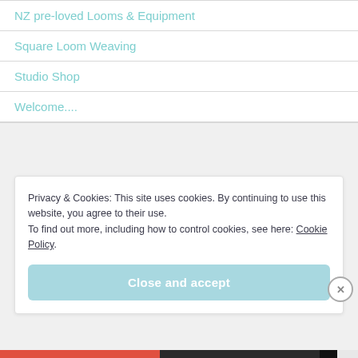NZ pre-loved Looms & Equipment
Square Loom Weaving
Studio Shop
Welcome....
Privacy & Cookies: This site uses cookies. By continuing to use this website, you agree to their use.
To find out more, including how to control cookies, see here: Cookie Policy
Close and accept